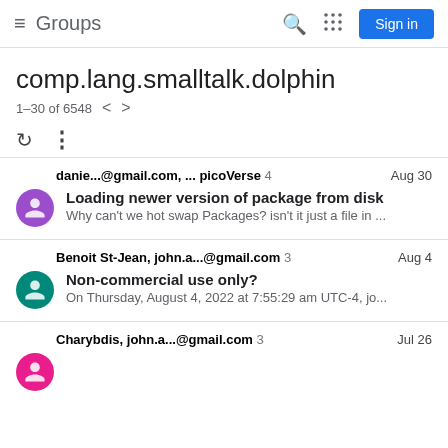Groups | Sign in
comp.lang.smalltalk.dolphin
1–30 of 6548
danie...@gmail.com, ... picoVerse 4  Aug 30
Loading newer version of package from disk
Why can't we hot swap Packages? isn't it just a file in ...
Benoit St-Jean, john.a...@gmail.com 3  Aug 4
Non-commercial use only?
On Thursday, August 4, 2022 at 7:55:29 am UTC-4, jo...
Charybdis, john.a...@gmail.com 3  Jul 26